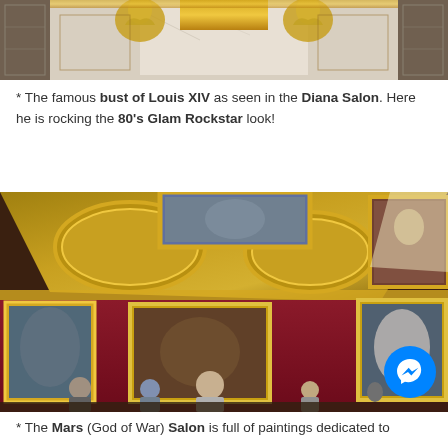[Figure (photo): Partial view of an ornate classical interior with marble columns, gilded decorations, and baroque sculptural elements including golden figures flanking a central marble relief at the top.]
* The famous bust of Louis XIV as seen in the Diana Salon. Here he is rocking the 80's Glam Rockstar look!
[Figure (photo): Interior of the Mars (God of War) Salon at the Palace of Versailles, showing an ornately gilded ceiling with large framed paintings, crimson red walls hung with large paintings, visitors standing and looking around the room, and a Facebook Messenger chat button in the lower right corner.]
* The Mars (God of War) Salon is full of paintings dedicated to